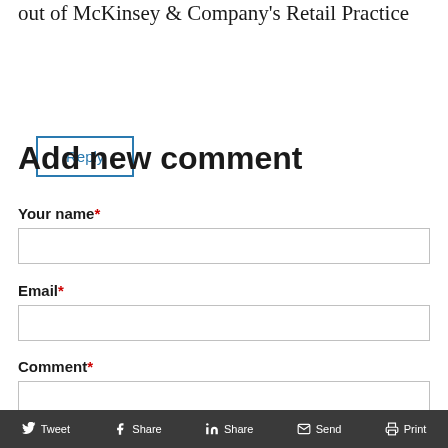out of McKinsey & Company's Retail Practice
Reply
Add new comment
Your name*
Email*
Comment*
Tweet  Share  Share  Send  Print